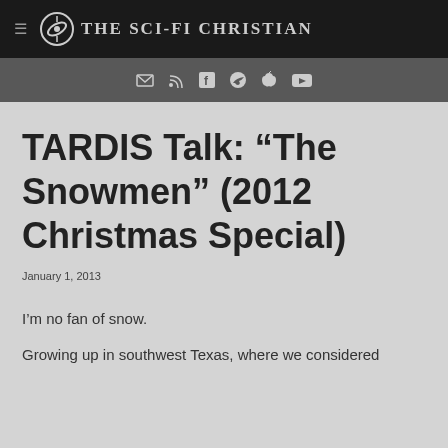The Sci-Fi Christian
TARDIS Talk: “The Snowmen” (2012 Christmas Special)
January 1, 2013
I’m no fan of snow.
Growing up in southwest Texas, where we considered